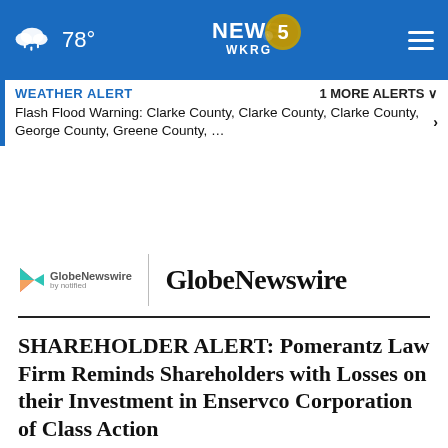[Figure (screenshot): WKRG News 5 navigation bar with weather icon showing cloud/rain, temperature 78°F, News 5 WKRG logo in center, and hamburger menu icon on the right. Blue background.]
WEATHER ALERT   1 MORE ALERTS ∨
Flash Flood Warning: Clarke County, Clarke County, Clarke County, George County, Greene County, …
[Figure (logo): GlobeNewswire by notified logo with colorful play-button icon on left, vertical divider, and GlobeNewswire text in large serif bold font on the right.]
SHAREHOLDER ALERT: Pomerantz Law Firm Reminds Shareholders with Losses on their Investment in Enservco Corporation of Class Action